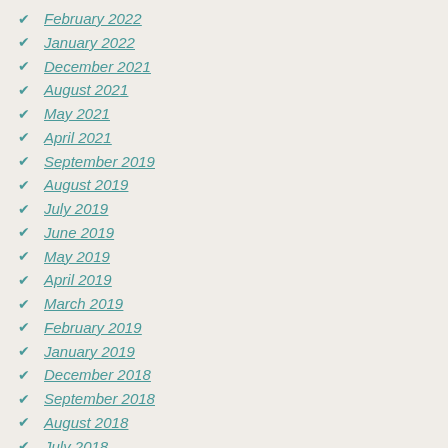February 2022
January 2022
December 2021
August 2021
May 2021
April 2021
September 2019
August 2019
July 2019
June 2019
May 2019
April 2019
March 2019
February 2019
January 2019
December 2018
September 2018
August 2018
July 2018
June 2018
May 2018